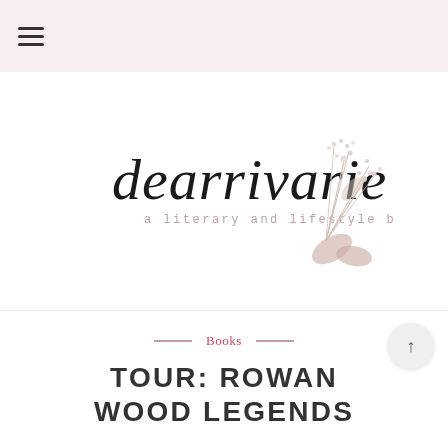[Figure (logo): Hamburger menu icon (three horizontal lines) in a light pink header bar]
[Figure (logo): dearrivarie blog logo — script handwriting 'dearrivarie' with tagline 'a literary and lifestyle blog' and a watercolor floral/botanical illustration of baby's breath]
Books
TOUR: ROWAN WOOD LEGENDS